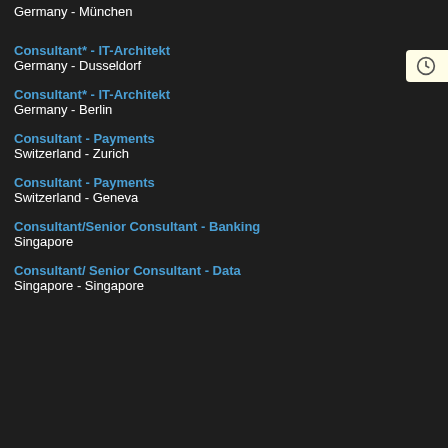Germany - München
Consultant* - IT-Architekt
Germany - Dusseldorf
Consultant* - IT-Architekt
Germany - Berlin
Consultant - Payments
Switzerland - Zurich
Consultant - Payments
Switzerland - Geneva
Consultant/Senior Consultant - Banking
Singapore
Consultant/ Senior Consultant - Data
Singapore - Singapore